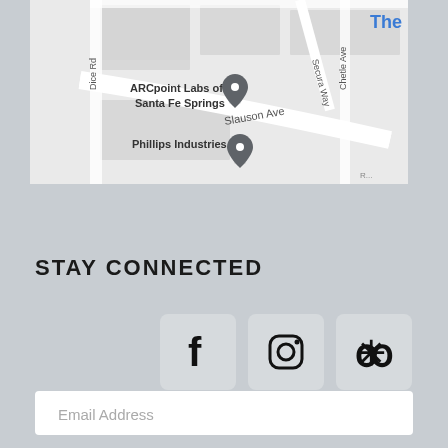[Figure (map): Google Maps screenshot showing ARCpoint Labs of Santa Fe Springs location near Slauson Ave, with markers for ARCpoint Labs of Santa Fe Springs and Phillips Industries. Shows Dice Rd, Secura Way, Chetle Ave. Blue text 'The' visible in top right corner.]
STAY CONNECTED
[Figure (infographic): Three social media icon buttons in rounded square boxes: Facebook (f), Instagram (camera), and Yelp (stylized person) icons]
Email Address